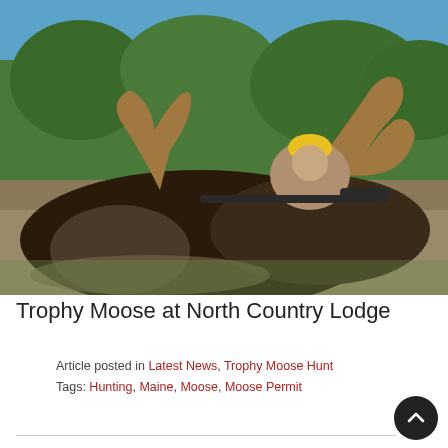[Figure (photo): A hunter posing behind a large trophy bull moose lying on the ground. The hunter is wearing a yellow cap and camouflage shirt, holding a rifle with a scope. Large antlers visible. Green vegetation and blue sky in background.]
Trophy Moose at North Country Lodge
Article posted in Latest News, Trophy Moose Hunt
Tags: Hunting, Maine, Moose, Moose Permit